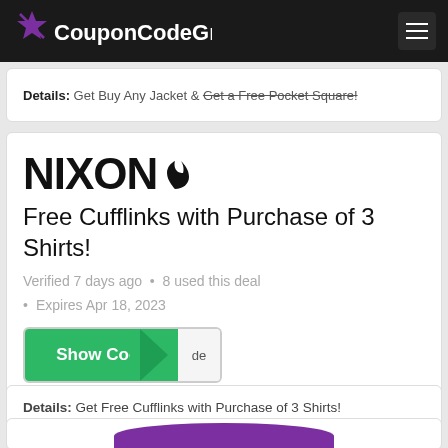CouponCodeGroup
Details: Get Buy Any Jacket & Get a Free Pocket Square!
[Figure (logo): Nixon brand logo with flame/droplet icon]
Free Cufflinks with Purchase of 3 Shirts!
Verified 7 days ago • 8 used this deal
Expires Apr 18, 2023
Show Code | de
Details: Get Free Cufflinks with Purchase of 3 Shirts!